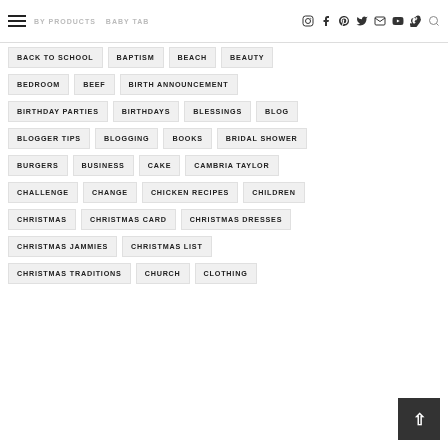BABY PRODUCTS  BABY TABLES (nav icons)
BACK TO SCHOOL
BAPTISM
BEACH
BEAUTY
BEDROOM
BEEF
BIRTH ANNOUNCEMENT
BIRTHDAY PARTIES
BIRTHDAYS
BLESSINGS
BLOG
BLOGGER TIPS
BLOGGING
BOOKS
BRIDAL SHOWER
BURGERS
BUSINESS
CAKE
CAMBRIA TAYLOR
CHALLENGE
CHANGE
CHICKEN RECIPES
CHILDREN
CHRISTMAS
CHRISTMAS CARD
CHRISTMAS DRESSES
CHRISTMAS JAMMIES
CHRISTMAS LIST
CHRISTMAS TRADITIONS
CHURCH
CLOTHING